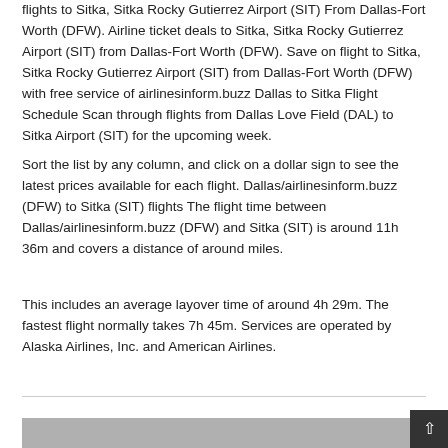flights to Sitka, Sitka Rocky Gutierrez Airport (SIT) From Dallas-Fort Worth (DFW). Airline ticket deals to Sitka, Sitka Rocky Gutierrez Airport (SIT) from Dallas-Fort Worth (DFW). Save on flight to Sitka, Sitka Rocky Gutierrez Airport (SIT) from Dallas-Fort Worth (DFW) with free service of airlinesinform.buzz Dallas to Sitka Flight Schedule Scan through flights from Dallas Love Field (DAL) to Sitka Airport (SIT) for the upcoming week.
Sort the list by any column, and click on a dollar sign to see the latest prices available for each flight. Dallas/airlinesinform.buzz (DFW) to Sitka (SIT) flights The flight time between Dallas/airlinesinform.buzz (DFW) and Sitka (SIT) is around 11h 36m and covers a distance of around miles.
This includes an average layover time of around 4h 29m. The fastest flight normally takes 7h 45m. Services are operated by Alaska Airlines, Inc. and American Airlines.